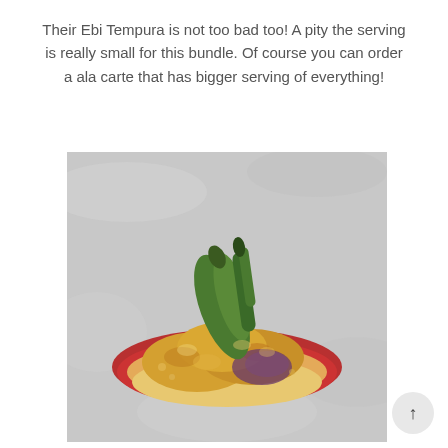Their Ebi Tempura is not too bad too! A pity the serving is really small for this bundle. Of course you can order a ala carte that has bigger serving of everything!
[Figure (photo): A bowl of Ebi Tempura (shrimp and vegetable tempura) served in a red bowl, photographed from above on a grey/white marble-like surface. The tempura pieces are golden brown with green vegetables visible on top.]